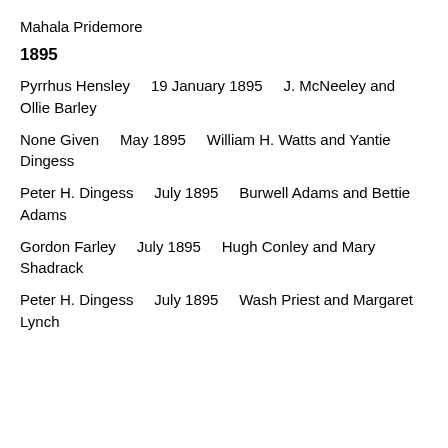Mahala Pridemore
1895
Pyrrhus Hensley     19 January 1895     J. McNeeley and Ollie Barley
None Given     May 1895     William H. Watts and Yantie Dingess
Peter H. Dingess     July 1895     Burwell Adams and Bettie Adams
Gordon Farley     July 1895     Hugh Conley and Mary Shadrack
Peter H. Dingess     July 1895     Wash Priest and Margaret Lynch